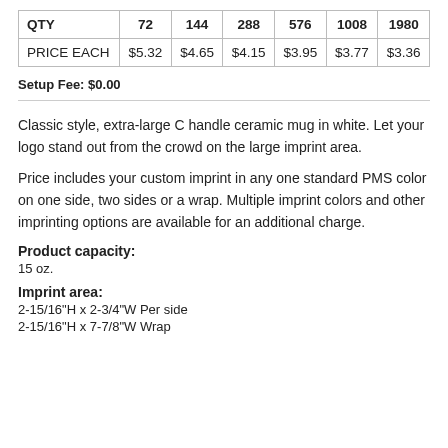| QTY | 72 | 144 | 288 | 576 | 1008 | 1980 |
| --- | --- | --- | --- | --- | --- | --- |
| PRICE EACH | $5.32 | $4.65 | $4.15 | $3.95 | $3.77 | $3.36 |
Setup Fee: $0.00
Classic style, extra-large C handle ceramic mug in white. Let your logo stand out from the crowd on the large imprint area.
Price includes your custom imprint in any one standard PMS color on one side, two sides or a wrap. Multiple imprint colors and other imprinting options are available for an additional charge.
Product capacity:
15 oz.
Imprint area:
2-15/16"H x 2-3/4"W Per side
2-15/16"H x 7-7/8"W Wrap